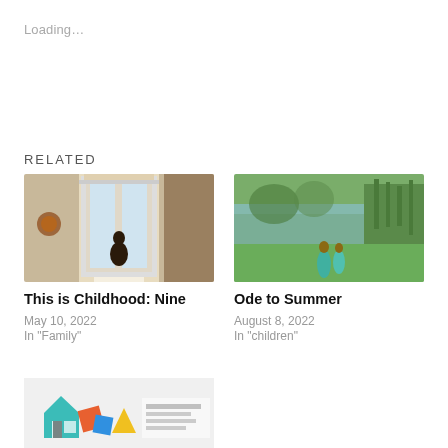Loading…
Related
[Figure (photo): Indoor photo showing a person silhouetted against bright glass doors in a decorated room]
This is Childhood: Nine
May 10, 2022
In "Family"
[Figure (photo): Two girls in teal dresses standing near a pond with green grass and reeds]
Ode to Summer
August 8, 2022
In "children"
[Figure (illustration): Colorful illustrated thumbnail with a house and geometric shapes, text about Making Every Transition for Healthy Education]